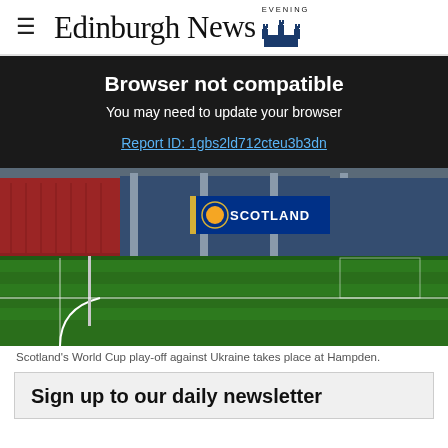≡  Edinburgh Evening News
Browser not compatible
You may need to update your browser
Report ID: 1gbs2ld712cteu3b3dn
[Figure (photo): Scotland football stadium (Hampden Park) interior showing red and blue seats, green pitch with corner flag, and a Scotland banner with the Scotland crest]
Scotland's World Cup play-off against Ukraine takes place at Hampden.
Sign up to our daily newsletter